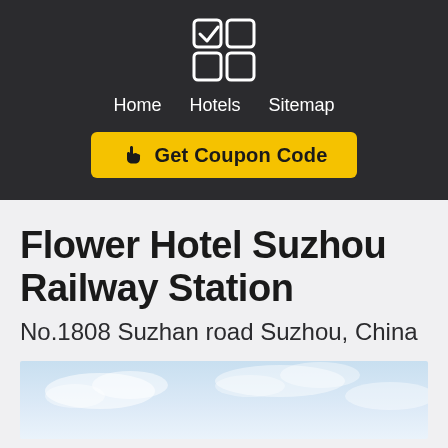Home  Hotels  Sitemap
[Figure (logo): App icon logo with four squares (2x2 grid), top-left has a checkmark]
☞ Get Coupon Code
Flower Hotel Suzhou Railway Station
No.1808 Suzhan road Suzhou, China
[Figure (photo): Partial photo of a building exterior against a light blue sky with clouds]